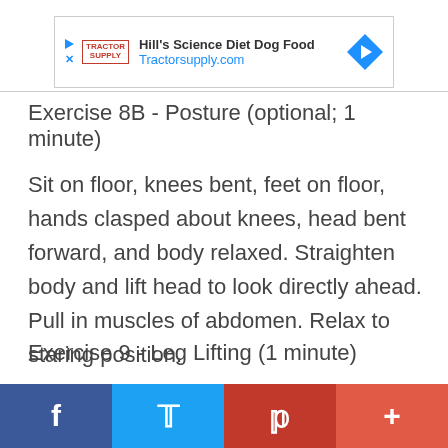[Figure (infographic): Advertisement banner: Hill's Science Diet Dog Food, Tractorsupply.com, with Tractor Supply logo and blue diamond arrow icon]
Exercise 8B - Posture (optional; 1 minute)
Sit on floor, knees bent, feet on floor, hands clasped about knees, head bent forward, and body relaxed. Straighten body and lift head to look directly ahead. Pull in muscles of abdomen. Relax to staring position.
Exercise 9 - Leg Lifting (1 minute)
[Figure (infographic): Social media sharing bar with Facebook, Twitter, Pinterest, and plus/share buttons]